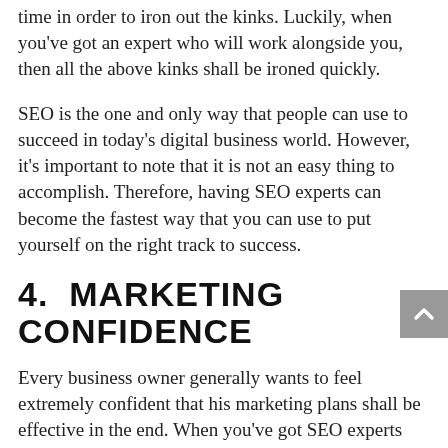time in order to iron out the kinks. Luckily, when you've got an expert who will work alongside you, then all the above kinks shall be ironed quickly.
SEO is the one and only way that people can use to succeed in today's digital business world. However, it's important to note that it is not an easy thing to accomplish. Therefore, having SEO experts can become the fastest way that you can use to put yourself on the right track to success.
4.  MARKETING CONFIDENCE
Every business owner generally wants to feel extremely confident that his marketing plans shall be effective in the end. When you've got SEO experts helping you to set together a great marketing campaign, you won't have any other choice besides achieving lasting online business success.
Whereas there are no guarantees today, letting a qualified SEO expert aid you will certainly give you better chances of achieving search engine dominance in comparison to what you could get in case you decided to do it alone.